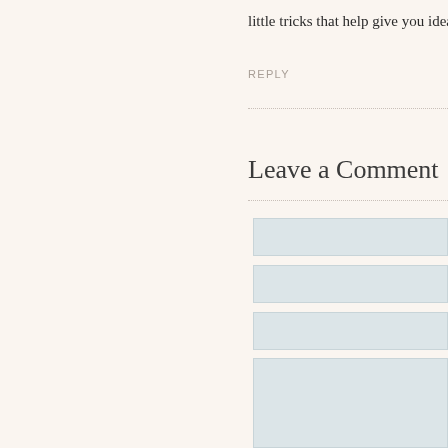little tricks that help give you ideas is
REPLY
Leave a Comment